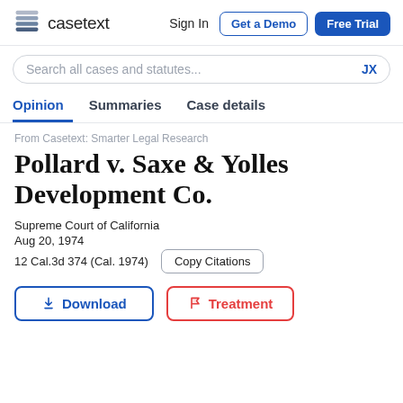casetext | Sign In | Get a Demo | Free Trial
Search all cases and statutes... JX
Opinion  Summaries  Case details
From Casetext: Smarter Legal Research
Pollard v. Saxe & Yolles Development Co.
Supreme Court of California
Aug 20, 1974
12 Cal.3d 374 (Cal. 1974)
Download  Treatment